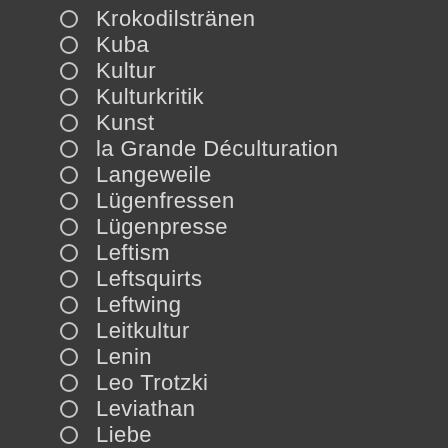Krokodilstränen
Kuba
Kultur
Kulturkritik
Kunst
la Grande Déculturation
Langeweile
Lügenfressen
Lügenpresse
Leftism
Leftsquirts
Leftwing
Leitkultur
Lenin
Leo Trotzki
Leviathan
Liebe
Lilyhammer
Literatur